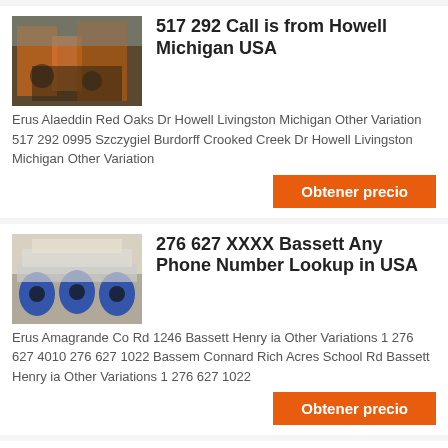517 292 Call is from Howell Michigan USA
Erus Alaeddin Red Oaks Dr Howell Livingston Michigan Other Variation 517 292 0995 Szczygiel Burdorff Crooked Creek Dr Howell Livingston Michigan Other Variation
276 627 XXXX Bassett Any Phone Number Lookup in USA
Erus Amagrande Co Rd 1246 Bassett Henry ia Other Variations 1 276 627 4010 276 627 1022 Bassem Connard Rich Acres School Rd Bassett Henry ia Other Variations 1 276 627 1022
chancadora san piedra
chancadora sac numero telefonico Directorio Empresas Mineras en el PerúOct 04 2011